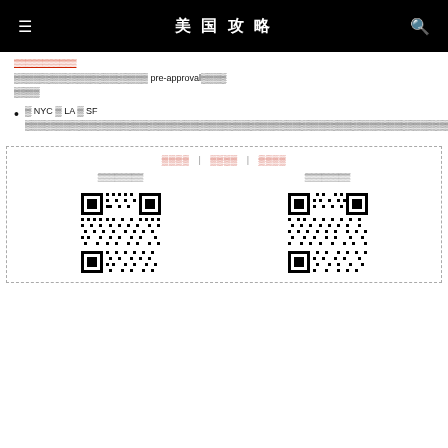美国攻略
以获得银行的 pre-approval信用额度的申请
在 NYC、LA 及 SF 等大城市中申请信用卡时，银行会审核申请人的信用历史及收入情况，以决定是否批准申请
加入社群 | 联系作者 | 投稿建议
扫码加入群组
扫码联系作者
[Figure (other): QR code 1 - join group]
[Figure (other): QR code 2 - contact author]